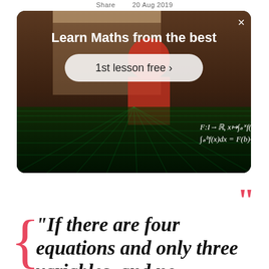Share    20 Aug 2019
[Figure (screenshot): Advertisement banner with dark background showing a person teaching maths. Contains title 'Learn Maths from the best', a '1st lesson free >' button, and handwritten mathematical formulas: F:I→ℝ, x↦∫ₐˣf(t)dt and ∫ₐᵇf(x)dx = F(b)-F(a). Close button X in top right corner.]
“” (closing quotation marks decorative)
"If there are four equations and only three variables, and no...